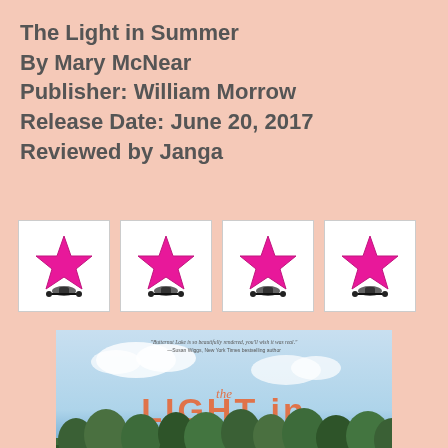The Light in Summer
By Mary McNear
Publisher: William Morrow
Release Date: June 20, 2017
Reviewed by Janga
[Figure (illustration): Four pink/magenta star rating icons in white bordered boxes arranged in a row, each star with a small decorative base icon beneath it]
[Figure (photo): Book cover for 'The Light in Summer' by Mary McNear, A Butternut Lake Novel, published by William Morrow. Shows a young woman with long red-brown hair wearing a straw hat and striped shirt sitting by a lake with a golden retriever dog, looking out at trees across the water. Title text in large coral/orange letters. Quote from Susan Wiggs, New York Times bestselling author at top.]